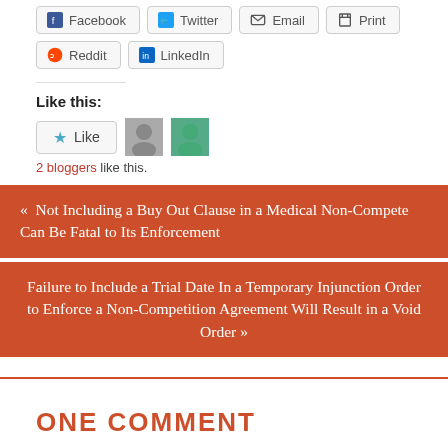[Figure (screenshot): Social share buttons: Facebook, Twitter, Email, Print, Reddit, LinkedIn]
Like this:
[Figure (screenshot): WordPress Like button widget with star icon and two blogger avatars]
2 bloggers like this.
« Not Including a Buy Out Clause in a Medical Non-Compete Can Be Fatal to Its Enforcement
Failure to Include a Trial Date In a Temporary Injunction Order to Enforce a Non-Competition Agreement Will Result in a Void Order »
ONE COMMENT